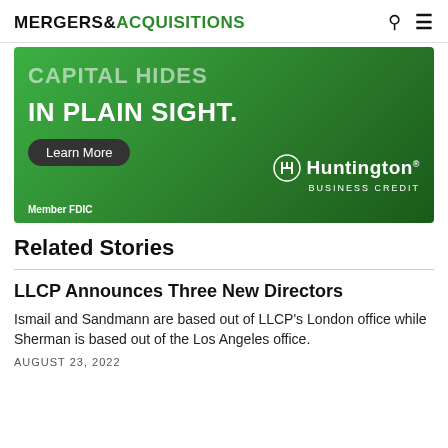MERGERS & ACQUISITIONS
[Figure (illustration): Huntington Business Credit advertisement on green gradient background. Text reads 'CAPITAL HIDES IN PLAIN SIGHT.' with a 'Learn More' button and Huntington Business Credit logo. Member FDIC noted at bottom left.]
Related Stories
LLCP Announces Three New Directors
Ismail and Sandmann are based out of LLCP's London office while Sherman is based out of the Los Angeles office.
AUGUST 23, 2022